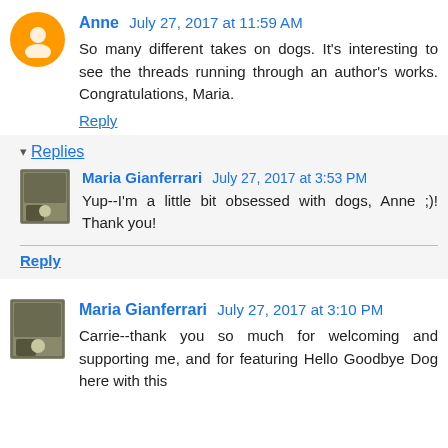Anne  July 27, 2017 at 11:59 AM
So many different takes on dogs. It's interesting to see the threads running through an author's works. Congratulations, Maria.
Reply
Replies
Maria Gianferrari  July 27, 2017 at 3:53 PM
Yup--I'm a little bit obsessed with dogs, Anne ;)! Thank you!
Reply
Maria Gianferrari  July 27, 2017 at 3:10 PM
Carrie--thank you so much for welcoming and supporting me, and for featuring Hello Goodbye Dog here with this